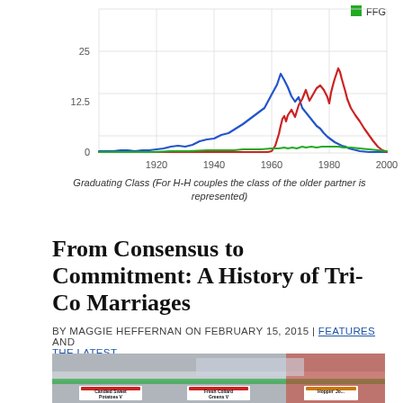[Figure (line-chart): ]
Graduating Class (For H-H couples the class of the older partner is represented)
From Consensus to Commitment: A History of Tri-Co Marriages
BY MAGGIE HEFFERNAN ON FEBRUARY 15, 2015 | FEATURES AND THE LATEST
[Figure (photo): Photo of a cafeteria food station with glass shelves and food label signs reading 'Candied Sweet Potatoes V', 'Fresh Collard Greens V', 'Hoppin' Jo...' with a person in red clothing in background]